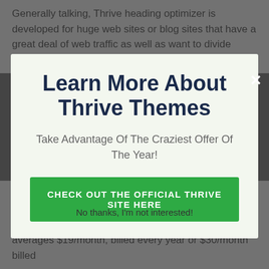Generally talking, Thrive heading optimizer is developed for huge web sites or blog sites that have a great deal of web traffic as well as want to divide examination how well their inner headlines do
Learn More About Thrive Themes
Take Advantage Of The Craziest Offer Of The Year!
CHECK OUT THE OFFICIAL THRIVE SITE HERE
No thanks, I'm not interested!
Though you can acquire any of the Thrive Word Press plugins separately, they provide a membership version that averages $19/month, billed every year or $30/month billed